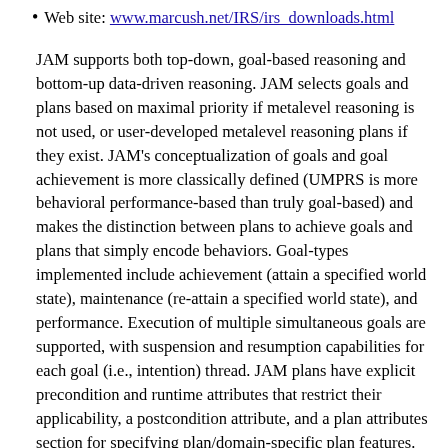Web site: www.marcush.net/IRS/irs_downloads.html
JAM supports both top-down, goal-based reasoning and bottom-up data-driven reasoning. JAM selects goals and plans based on maximal priority if metalevel reasoning is not used, or user-developed metalevel reasoning plans if they exist. JAM's conceptualization of goals and goal achievement is more classically defined (UMPRS is more behavioral performance-based than truly goal-based) and makes the distinction between plans to achieve goals and plans that simply encode behaviors. Goal-types implemented include achievement (attain a specified world state), maintenance (re-attain a specified world state), and performance. Execution of multiple simultaneous goals are supported, with suspension and resumption capabilities for each goal (i.e., intention) thread. JAM plans have explicit precondition and runtime attributes that restrict their applicability, a postcondition attribute, and a plan attributes section for specifying plan/domain-specific plan features. Available plan constructs include: sequencing, iteration, subgoaling, atomic (i.e., non-interruptable) plan segments, n-branch deterministic and non-deterministic conditional execution, parallel execution of multiple plan segments, goal-based or world state-based synchronization, an explicit failure-handling section, and Java primitive function